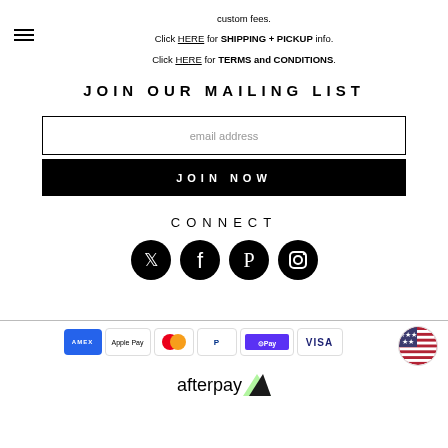custom fees. Click HERE for SHIPPING + PICKUP info. Click HERE for TERMS and CONDITIONS.
JOIN OUR MAILING LIST
email address
JOIN NOW
CONNECT
[Figure (other): Social media icons: Twitter, Facebook, Pinterest, Instagram]
[Figure (other): Payment method logos: Amex, Apple Pay, Mastercard, PayPal, Shop Pay, Visa, Afterpay, US flag currency selector]